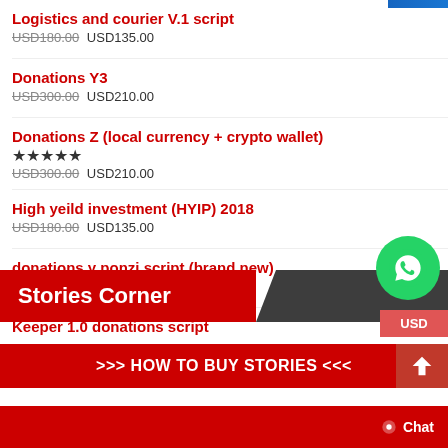Logistics and courier V.1 script — USD180.00 USD135.00
Donations Y3 — USD300.00 USD210.00
Donations Z (local currency + crypto wallet) — USD300.00 USD210.00
High yeild investment (HYIP) 2018 — USD180.00 USD135.00
donations y ponzi script (brand new)
Keeper 1.0 donations script
Stories Corner
>>> HOW TO BUY STORIES <<<